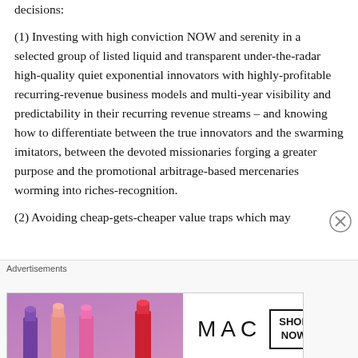decisions:
(1) Investing with high conviction NOW and serenity in a selected group of listed liquid and transparent under-the-radar high-quality quiet exponential innovators with highly-profitable recurring-revenue business models and multi-year visibility and predictability in their recurring revenue streams – and knowing how to differentiate between the true innovators and the swarming imitators, between the devoted missionaries forging a greater purpose and the promotional arbitrage-based mercenaries worming into riches-recognition.
(2) Avoiding cheap-gets-cheaper value traps which may
[Figure (photo): MAC Cosmetics advertisement banner showing lipsticks in purple, pink, and red colors alongside MAC logo and SHOP NOW button]